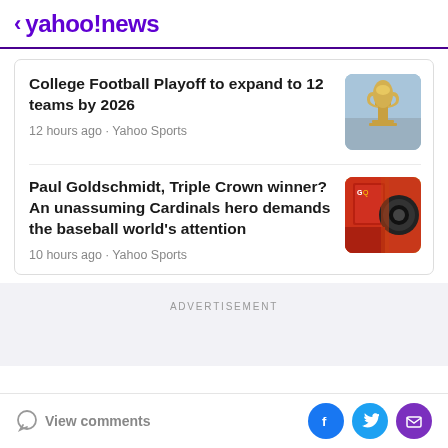< yahoo!news
College Football Playoff to expand to 12 teams by 2026
12 hours ago · Yahoo Sports
Paul Goldschmidt, Triple Crown winner? An unassuming Cardinals hero demands the baseball world's attention
10 hours ago · Yahoo Sports
ADVERTISEMENT
View comments